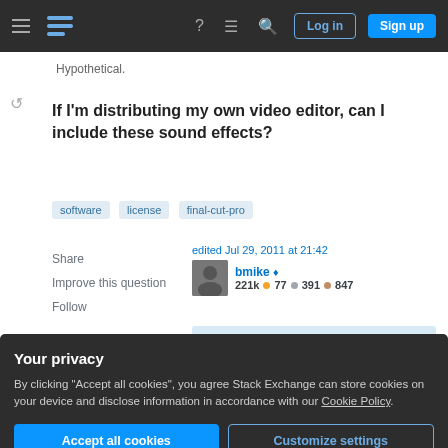Stack Exchange navigation bar with Log in and Sign up buttons
Hypothetical.
If I'm distributing my own video editor, can I include these sound effects?
software
license
final-cut-pro
Share
Improve this question
Follow
edited Jul 29, 2011 at 21:42
bmike ◆
221k • 77 • 391 • 847
asked Jun 21, 2011 at 18:39
Your privacy
By clicking "Accept all cookies", you agree Stack Exchange can store cookies on your device and disclose information in accordance with our Cookie Policy.
Accept all cookies
Customize settings
Highest score (default)